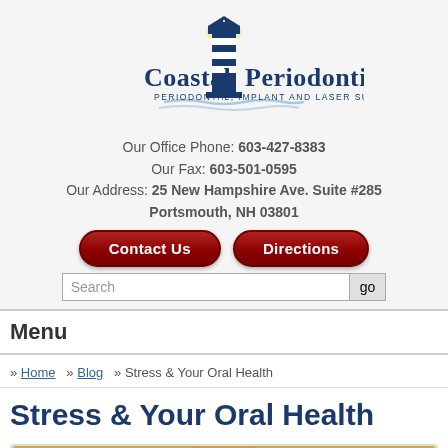[Figure (logo): Coastal Periodontics logo with lighthouse illustration and text 'PERIODONTAL, IMPLANT AND LASER SURGERY']
Our Office Phone: 603-427-8383
Our Fax: 603-501-0595
Our Address: 25 New Hampshire Ave. Suite #285
Portsmouth, NH 03801
[Figure (other): Contact Us button (red rounded)]
[Figure (other): Directions button (red rounded)]
[Figure (other): Search input field with 'go' button]
Menu
» Home » Blog » Stress & Your Oral Health
Stress & Your Oral Health
[Figure (photo): Photo of a blonde woman with hands on her head showing stress expression, on a yellow/gold background]